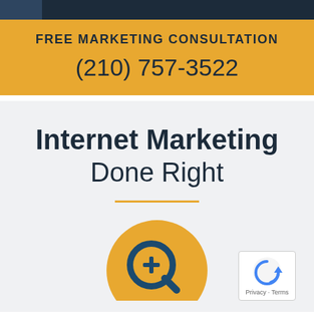FREE MARKETING CONSULTATION
(210) 757-3522
Internet Marketing Done Right
[Figure (illustration): Golden circular icon with a magnifying glass containing a plus sign, representing search/SEO services.]
[Figure (other): reCAPTCHA badge showing a circular arrow icon with text 'Privacy - Terms']